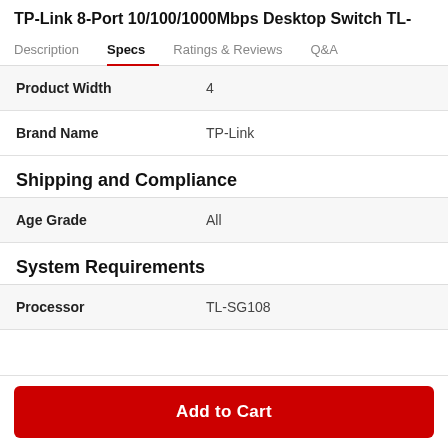TP-Link 8-Port 10/100/1000Mbps Desktop Switch TL-
Description  Specs  Ratings & Reviews  Q&A
| Attribute | Value |
| --- | --- |
| Product Width | 4 |
| Brand Name | TP-Link |
Shipping and Compliance
| Attribute | Value |
| --- | --- |
| Age Grade | All |
System Requirements
| Attribute | Value |
| --- | --- |
| Processor | TL-SG108 |
Add to Cart